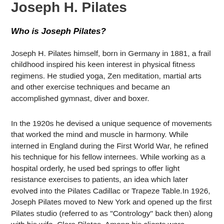Joseph H. Pilates
Who is Joseph Pilates?
Joseph H. Pilates himself, born in Germany in 1881, a frail childhood inspired his keen interest in physical fitness regimens. He studied yoga, Zen meditation, martial arts and other exercise techniques and became an accomplished gymnast, diver and boxer.
In the 1920s he devised a unique sequence of movements that worked the mind and muscle in harmony. While interned in England during the First World War, he refined his technique for his fellow internees. While working as a hospital orderly, he used bed springs to offer light resistance exercises to patients, an idea which later evolved into the Pilates Cadillac or Trapeze Table.In 1926, Joseph Pilates moved to New York and opened up the first Pilates studio (referred to as "Contrology" back then) along with his wife, Clara Pilates. Among his clients were dancers such as Martha Graham and George Balanchine, who appreciated how the exercise method created long, lean muscles without